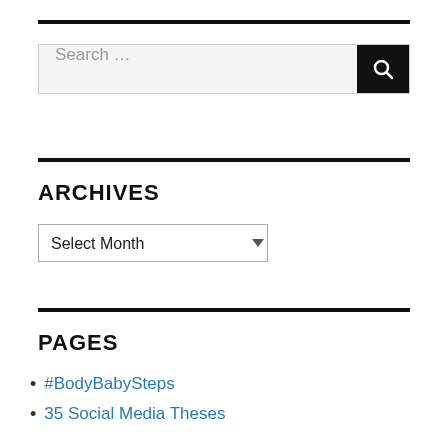Search …
ARCHIVES
Select Month
PAGES
#BodyBabySteps
35 Social Media Theses